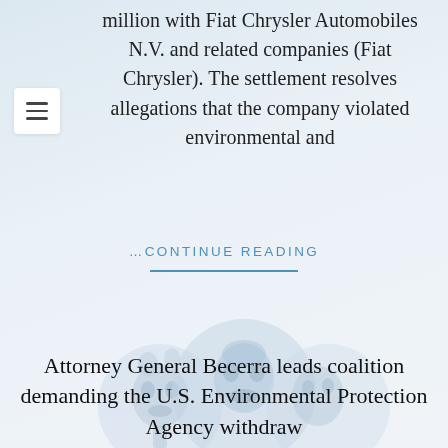million with Fiat Chrysler Automobiles N.V. and related companies (Fiat Chrysler). The settlement resolves allegations that the company violated environmental and
… CONTINUE READING
[Figure (illustration): Three overlapping circular avatar/profile images arranged with a decorative totem-like figure on the left, a person's face in the center (largest), and a partial figure on the right. Images are faded/watermarked in blue-grey tones.]
Attorney General Becerra leads coalition demanding the U.S. Environmental Protection Agency withdraw